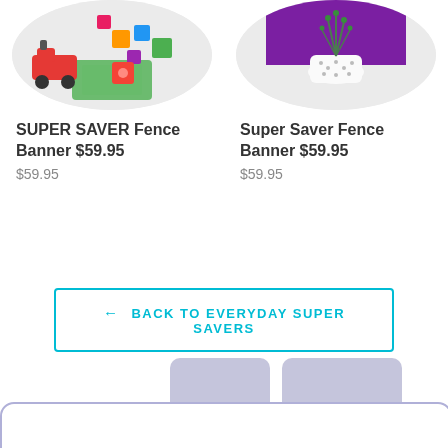[Figure (screenshot): Product listing for SUPER SAVER Fence Banner with toys image in circle]
SUPER SAVER Fence Banner $59.95
$59.95
[Figure (screenshot): Product listing for Super Saver Fence Banner with home decor image in circle]
Super Saver Fence Banner $59.95
$59.95
← BACK TO EVERYDAY SUPER SAVERS
[Figure (screenshot): Tabbed panel UI element at bottom of page with help button showing notification badge 1]